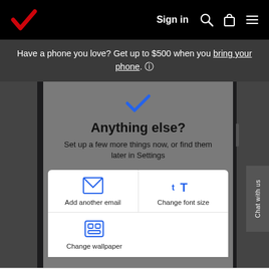Sign in
Have a phone you love? Get up to $500 when you bring your phone. ℹ
[Figure (screenshot): Android phone screenshot showing 'Anything else?' setup screen with blue checkmark, subtitle 'Set up a few more things now, or find them later in Settings', and a white card with options: Add another email (Gmail icon), Change font size (font icon), Change wallpaper (wallpaper icon)]
Smart Setup | Apple to Android Guide